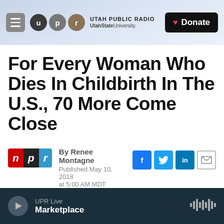[Figure (screenshot): Utah Public Radio website header with hamburger menu, UPR logo circles (u, p, r), Utah State University text, and Donate button]
For Every Woman Who Dies In Childbirth In The U.S., 70 More Come Close
By Renee Montagne
Published May 10, 2018 at 5:00 AM MDT
[Figure (logo): NPR logo with n, p, r letters in red, dark, and blue boxes]
[Figure (infographic): Social share buttons: Facebook, Twitter, LinkedIn, Email]
LISTEN • 10:42
UPR Live
Marketplace